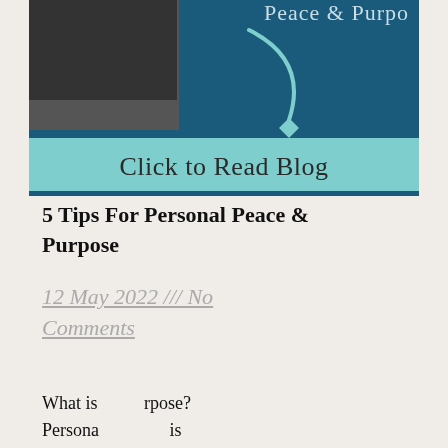[Figure (illustration): Blog post thumbnail image with dark teal background, a black and white photo element on the left, a light blue curved arrow pointing down, and text 'Peace & Purpo...' partially visible at top right. Below is a light blue banner with text 'Click to Read Blog'.]
5 Tips For Personal Peace & Purpose
12 May 2022 /// No Comments
What is personal peace & purpose? Persona... is